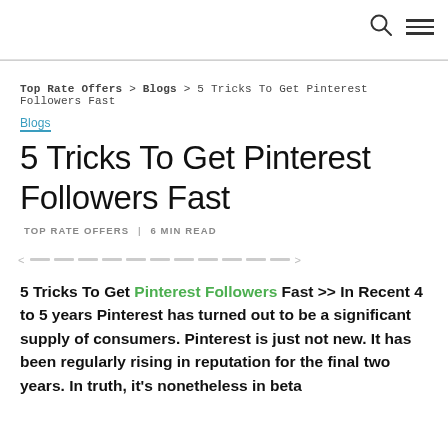[Search icon] [Menu icon]
Top Rate Offers > Blogs > 5 Tricks To Get Pinterest Followers Fast
Blogs
5 Tricks To Get Pinterest Followers Fast
TOP RATE OFFERS | 6 MIN READ
5 Tricks To Get Pinterest Followers Fast >> In Recent 4 to 5 years Pinterest has turned out to be a significant supply of consumers. Pinterest is just not new. It has been regularly rising in reputation for the final two years. In truth, it’s nonetheless in beta